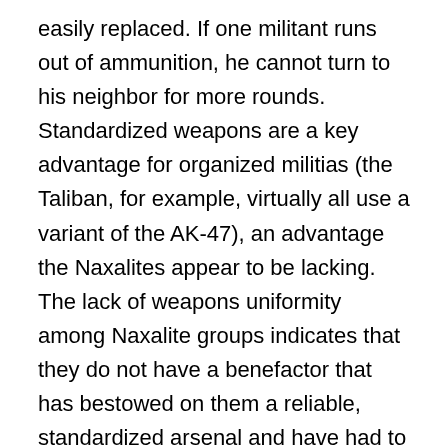easily replaced. If one militant runs out of ammunition, he cannot turn to his neighbor for more rounds. Standardized weapons are a key advantage for organized militias (the Taliban, for example, virtually all use a variant of the AK-47), an advantage the Naxalites appear to be lacking. The lack of weapons uniformity among Naxalite groups indicates that they do not have a benefactor that has bestowed on them a reliable, standardized arsenal and have had to build up their own from scratch.
Outside Suppliers
There are numerous reports in open-source media in India and elsewhere that link Naxalites to a number of militant and criminal groups throughout South Asia. These groups interact with Maoists from Nepal,